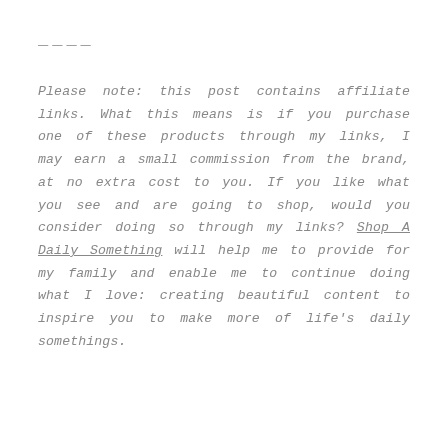____
Please note: this post contains affiliate links. What this means is if you purchase one of these products through my links, I may earn a small commission from the brand, at no extra cost to you. If you like what you see and are going to shop, would you consider doing so through my links? Shop A Daily Something will help me to provide for my family and enable me to continue doing what I love: creating beautiful content to inspire you to make more of life’s daily somethings.